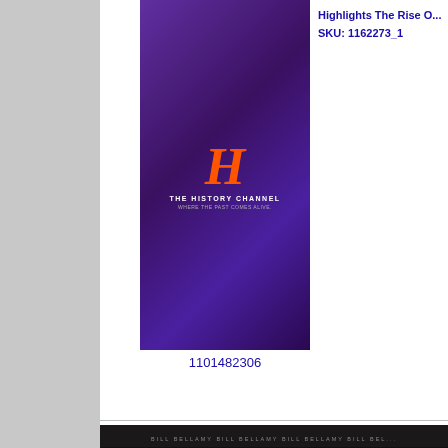[Figure (photo): History Channel DVD cover with purple background and orange H logo]
Highlights The Rise O...
SKU: 1162273_1
1101482306
[Figure (photo): Bill Bellamy Platinum Comedy Series Deluxe Edition DVD cover showing Bill Bellamy's face with red/orange styling]